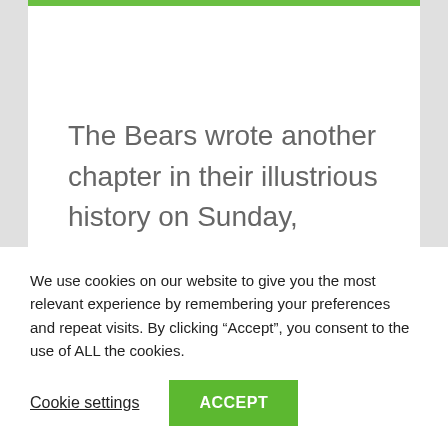The Bears wrote another chapter in their illustrious history on Sunday, delivering a thunderous performance to brush aside their opponents, North Newton by 22 runs at The County
We use cookies on our website to give you the most relevant experience by remembering your preferences and repeat visits. By clicking “Accept”, you consent to the use of ALL the cookies.
Cookie settings
ACCEPT